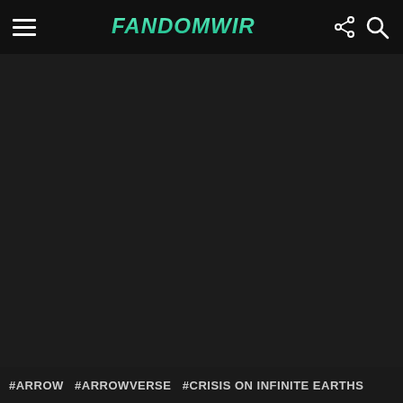FandomWire
[Figure (photo): Dark background image area, mostly black/very dark]
#ARROW  #ARROWVERSE  #CRISIS ON INFINITE EARTHS